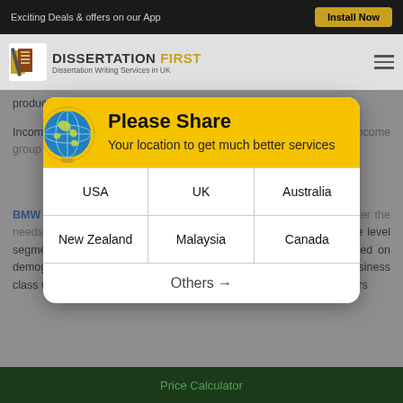Exciting Deals & offers on our App | Install Now
[Figure (screenshot): Dissertation First logo with book icon and text 'Dissertation Writing Services in UK']
product ... and income...
Income ... small segments ... parts; high income g... (Kumar, 2009).
BMW sh... tegy and continue l... ers of the company ... me level segmentati... and BMW must sell different variants of its cars based on demographic features of its target population. For instance, the business class will prefer a lavish sedan car; while on the other hand, youngsters
[Figure (screenshot): Please Share location modal dialog with globe icon, yellow header saying 'Please Share - Your location to get much better services', grid of country options: USA, UK, Australia, New Zealand, Malaysia, Canada, and Others arrow button]
Price Calculator